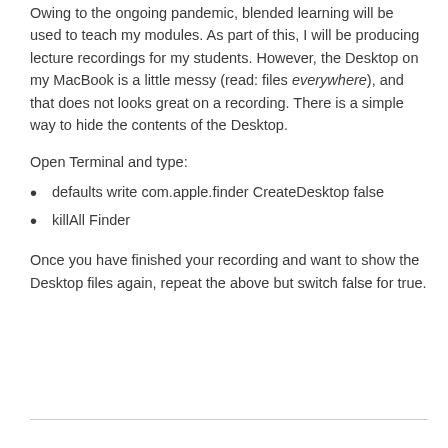Owing to the ongoing pandemic, blended learning will be used to teach my modules. As part of this, I will be producing lecture recordings for my students. However, the Desktop on my MacBook is a little messy (read: files everywhere), and that does not looks great on a recording. There is a simple way to hide the contents of the Desktop.
Open Terminal and type:
defaults write com.apple.finder CreateDesktop false
killAll Finder
Once you have finished your recording and want to show the Desktop files again, repeat the above but switch false for true.